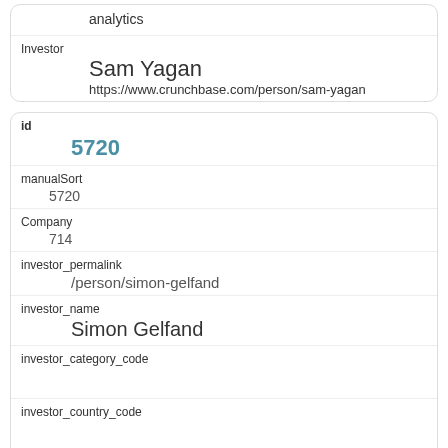analytics
Investor
Sam Yagan
https://www.crunchbase.com/person/sam-yagan
id
5720
manualSort
5720
Company
714
investor_permalink
/person/simon-gelfand
investor_name
Simon Gelfand
investor_category_code
investor_country_code
investor_state_code